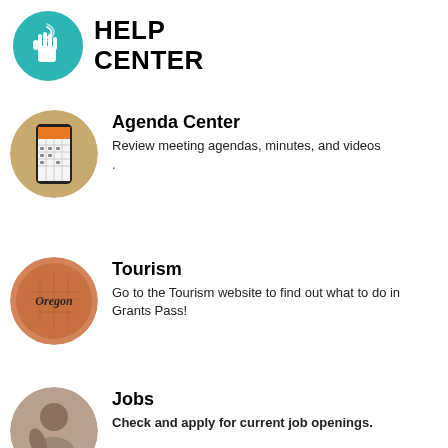HELP CENTER
Agenda Center
Review meeting agendas, minutes, and videos
.
Tourism
Go to the Tourism website to find out what to do in Grants Pass!
Jobs
Check and apply for current job openings.